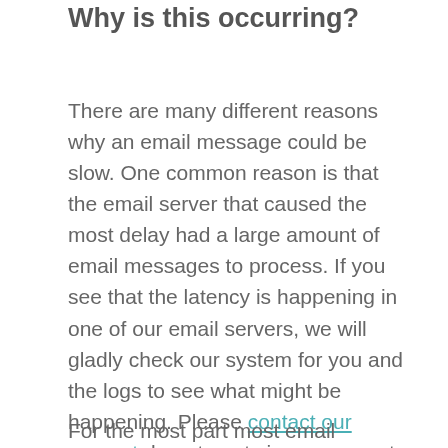Why is this occurring?
There are many different reasons why an email message could be slow. One common reason is that the email server that caused the most delay had a large amount of email messages to process. If you see that the latency is happening in one of our email servers, we will gladly check our system for you and the logs to see what might be happening. Please contact our support department via our support portal for assistance.
For the most part most email